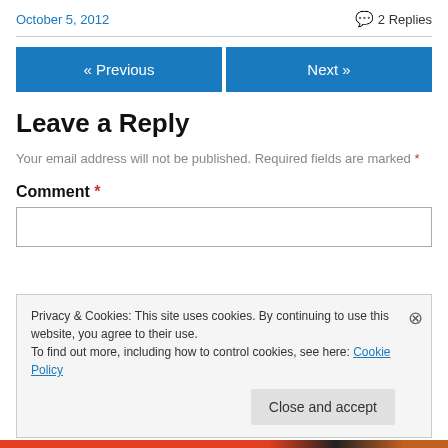October 5, 2012   💬 2 Replies
« Previous   Next »
Leave a Reply
Your email address will not be published. Required fields are marked *
Comment *
Privacy & Cookies: This site uses cookies. By continuing to use this website, you agree to their use. To find out more, including how to control cookies, see here: Cookie Policy
Close and accept